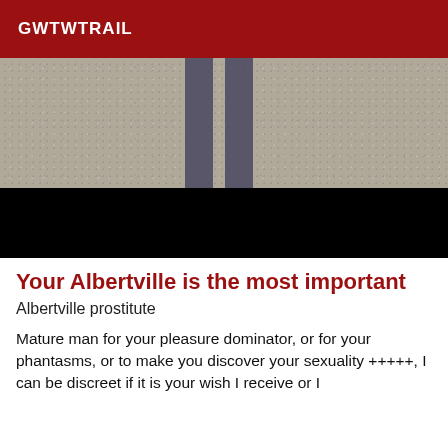GWTWTRAIL
[Figure (photo): Close-up photo of asphalt pavement with two dark parallel stripes (road markings or shadows), with lower portion blacked out.]
Your Albertville is the most important
Albertville prostitute
Mature man for your pleasure dominator, or for your phantasms, or to make you discover your sexuality +++++, I can be discreet if it is your wish I receive or I